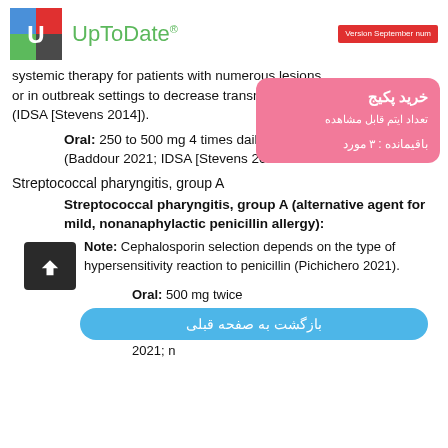[Figure (logo): UpToDate logo with colored U icon, green UpToDate text, and red Version September badge]
systemic therapy for patients with numerous lesions or in outbreak settings to decrease transmission (IDSA [Stevens 2014]).
Oral: 250 to 500 mg 4 times daily fo... (Baddour 2021; IDSA [Stevens 201...
Streptococcal pharyngitis, group A
Streptococcal pharyngitis, group A (alternative agent for mild, nonanaphylactic penicillin allergy):
Note: Cephalosporin selection depends on the type of hypersensitivity reaction to penicillin (Pichichero 2021).
Oral: 500 mg twice daily f... 2012]; Pichichero 2021; n...